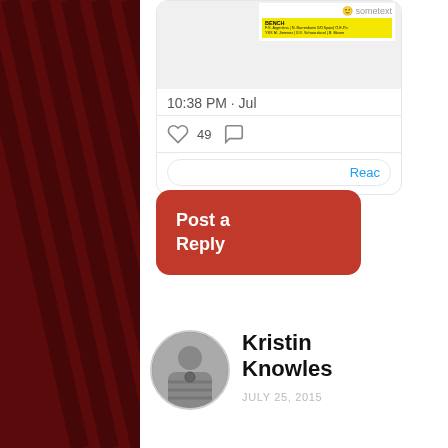[Figure (screenshot): Partial tweet screenshot showing timestamp 10:38 PM · Jul, 49 likes, comment icon, and a React button. Contains an embedded image with yellow BENCH label and small text.]
Post a Reply
[Figure (photo): Circular profile photo of Kristin Knowles, grayscale, person wearing striped shirt]
Kristin Knowles
JULY 25, 2015